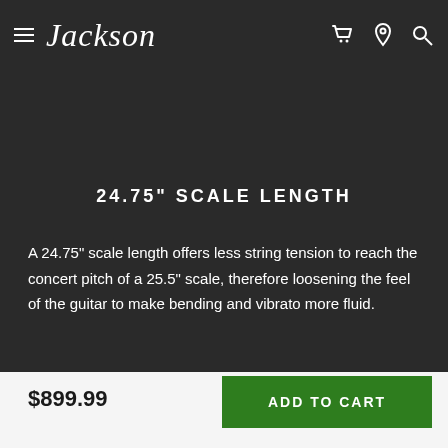Jackson [logo] | cart | location | search
24.75" SCALE LENGTH
A 24.75" scale length offers less string tension to reach the concert pitch of a 25.5" scale, therefore loosening the feel of the guitar to make bending and vibrato more fluid.
$899.99
ADD TO CART